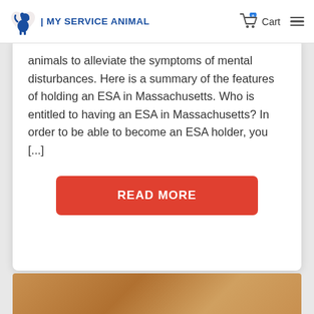MY SERVICE ANIMAL | Cart
animals to alleviate the symptoms of mental disturbances. Here is a summary of the features of holding an ESA in Massachusetts. Who is entitled to having an ESA in Massachusetts? In order to be able to become an ESA holder, you [...]
READ MORE
[Figure (photo): Partial view of a golden/orange colored animal (likely a dog or cat) at the bottom of the page]